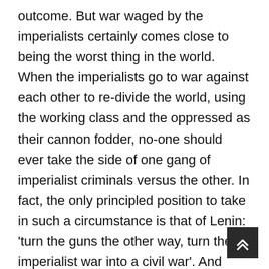outcome. But war waged by the imperialists certainly comes close to being the worst thing in the world. When the imperialists go to war against each other to re-divide the world, using the working class and the oppressed as their cannon fodder, no-one should ever take the side of one gang of imperialist criminals versus the other. In fact, the only principled position to take in such a circumstance is that of Lenin: 'turn the guns the other way, turn the imperialist war into a civil war'. And when the imperialists are invading a country like Iraq, Libya, Syria, Afghanistan, etc, the only principled position is for unconditional military defeat of the imperialists. In general, any defeat for